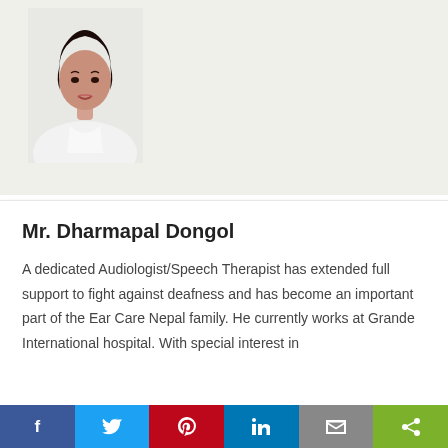[Figure (photo): Headshot photo of a person in white clothing against a light background]
Mr. Dharmapal Dongol
A dedicated Audiologist/Speech Therapist has extended full support to fight against deafness and has become an important part of the Ear Care Nepal family. He currently works at Grande International hospital. With special interest in
f  t  p  in  mail  share